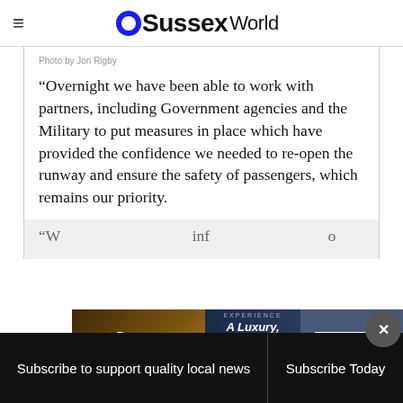OSussex World
Photo by Jon Rigby
“Overnight we have been able to work with partners, including Government agencies and the Military to put measures in place which have provided the confidence we needed to re-open the runway and ensure the safety of passengers, which remains our priority.
[Figure (other): Dreams Resorts & Spa advertisement banner: Experience A Luxury, All-Inclusive Family Getaway. Book Now.]
Subscribe to support quality local news | Subscribe Today